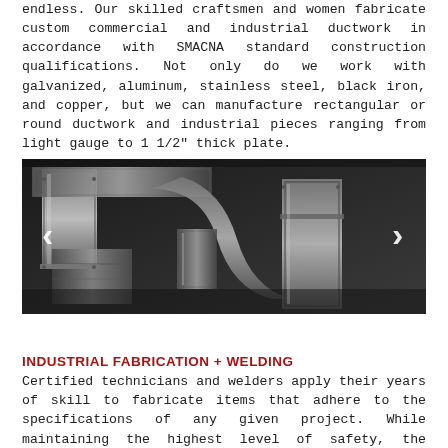endless. Our skilled craftsmen and women fabricate custom commercial and industrial ductwork in accordance with SMACNA standard construction qualifications. Not only do we work with galvanized, aluminum, stainless steel, black iron, and copper, but we can manufacture rectangular or round ductwork and industrial pieces ranging from light gauge to 1 1/2" thick plate.
[Figure (photo): Black and white photo of industrial ductwork fabrication — large rectangular and round duct sections arranged in a workshop, with navigation arrows (< >) on left and right sides for a carousel]
INDUSTRIAL FABRICATION + WELDING
Certified technicians and welders apply their years of skill to fabricate items that adhere to the specifications of any given project. While maintaining the highest level of safety, the Kleeberg craftsmen and women are able to efficiently produce quality products. From